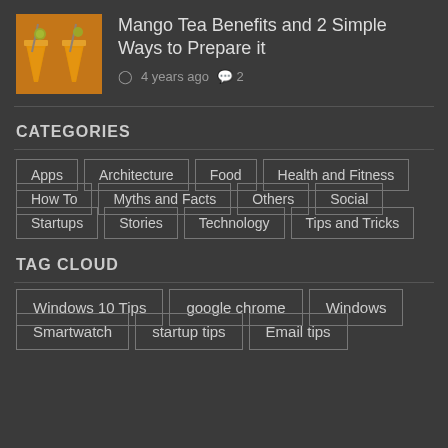[Figure (photo): Thumbnail image of mango tea drinks - orange/yellow juice in glasses]
Mango Tea Benefits and 2 Simple Ways to Prepare it
4 years ago  2
CATEGORIES
Apps
Architecture
Food
Health and Fitness
How To
Myths and Facts
Others
Social
Startups
Stories
Technology
Tips and Tricks
TAG CLOUD
Windows 10 Tips
google chrome
Windows
Smartwatch
startup tips
Email tips